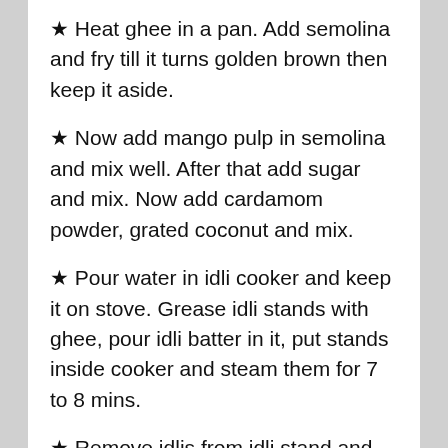★ Heat ghee in a pan. Add semolina and fry till it turns golden brown then keep it aside.
★ Now add mango pulp in semolina and mix well. After that add sugar and mix. Now add cardamom powder, grated coconut and mix.
★ Pour water in idli cooker and keep it on stove. Grease idli stands with ghee, pour idli batter in it, put stands inside cooker and steam them for 7 to 8 mins.
★ Remove idlis from idli stand and garnish them with...Mango Rava Idli is...